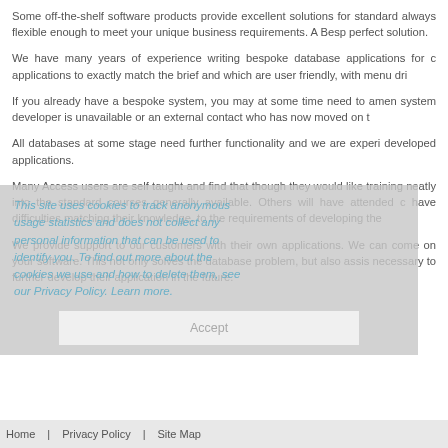Some off-the-shelf software products provide excellent solutions for standard always flexible enough to meet your unique business requirements. A Besp perfect solution.
We have many years of experience writing bespoke database applications for c applications to exactly match the brief and which are user friendly, with menu dri
If you already have a bespoke system, you may at some time need to amen system developer is unavailable or an external contact who has now moved on t
All databases at some stage need further functionality and we are experi developed applications.
Many Access users are self taught and find that though they would like training neatly into the standard courses generally available. Others will have attended c have difficulties matching their knowledge, to the requirements of developing the
We provide support to our customers with their own applications. We can come on your software. This not only solves the database problem, but also assis necessary to further develop their application in the future.
This site uses cookies to track anonymous usage statistics and does not collect any personal information that can be used to identify you. To find out more about the cookies we use and how to delete them, see our Privacy Policy. Learn more.
Home   Privacy Policy   Site Map